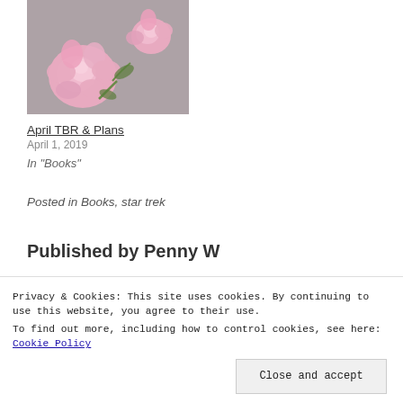[Figure (photo): Pink roses/flowers on a grey background]
April TBR & Plans
April 1, 2019
In "Books"
Posted in Books, star trek
Published by Penny W
[Figure (photo): Avatar/profile photo of a person]
Privacy & Cookies: This site uses cookies. By continuing to use this website, you agree to their use.
To find out more, including how to control cookies, see here: Cookie Policy
Close and accept